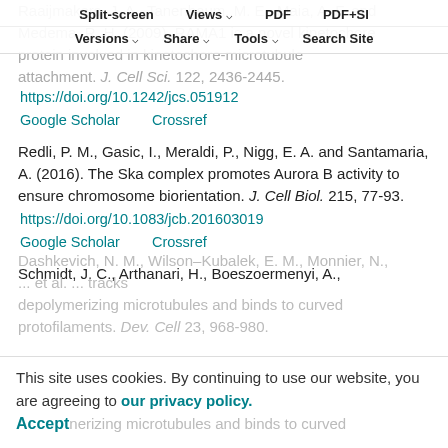Split-screen | Views | PDF | PDF+SI | Versions | Share | Tools | Search Site
Raaijmakers, J. A., Tanenbaum, M. E., Maia, A. F. and Medema, R. H. (2009). RAMA1 is a novel kinetochore protein involved in kinetochore-microtubule attachment. J. Cell Sci. 122, 2436-2445. https://doi.org/10.1242/jcs.051912 Google Scholar Crossref
Redli, P. M., Gasic, I., Meraldi, P., Nigg, E. A. and Santamaria, A. (2016). The Ska complex promotes Aurora B activity to ensure chromosome biorientation. J. Cell Biol. 215, 77-93. https://doi.org/10.1083/jcb.201603019 Google Scholar Crossref
Schmidt, J. C., Arthanari, H., Boeszoermenyi, A., Dashkevich, N. M., Wilson-Kubalek, E. M., Monnier, N., ... et al. ... tracks depolymerizing microtubules and binds to curved protofilaments. Dev. Cell 23, 968-980.
This site uses cookies. By continuing to use our website, you are agreeing to our privacy policy. Accept